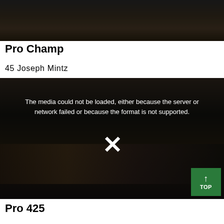[Figure (photo): Dark blurry photo of racing vehicles on a track, top portion of page]
Pro Champ
45 Joseph Mintz
[Figure (screenshot): Video player showing error message: The media could not be loaded, either because the server or network failed or because the format is not supported. Large X mark in center. Green TOP button in bottom right corner.]
Pro 425